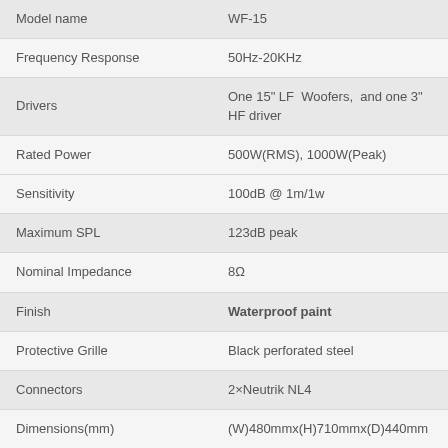| Specification | Value |
| --- | --- |
| Model name | WF-15 |
| Frequency Response | 50Hz-20KHz |
| Drivers | One 15" LF  Woofers,  and one 3" HF driver |
| Rated Power | 500W(RMS), 1000W(Peak) |
| Sensitivity | 100dB @ 1m/1w |
| Maximum SPL | 123dB peak |
| Nominal Impedance | 8Ω |
| Finish | Waterproof paint |
| Protective Grille | Black perforated steel |
| Connectors | 2×Neutrik NL4 |
| Dimensions(mm) | (W)480mmx(H)710mmx(D)440mm |
| Weight | 32.5KG |